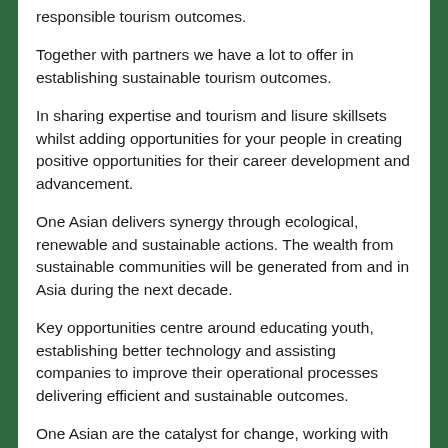responsible tourism outcomes.
Together with partners we have a lot to offer in establishing sustainable tourism outcomes.
In sharing expertise and tourism and lisure skillsets whilst adding opportunities for your people in creating positive opportunities for their career development and advancement.
One Asian delivers synergy through ecological, renewable and sustainable actions. The wealth from sustainable communities will be generated from and in Asia during the next decade.
Key opportunities centre around educating youth, establishing better technology and assisting companies to improve their operational processes delivering efficient and sustainable outcomes.
One Asian are the catalyst for change, working with